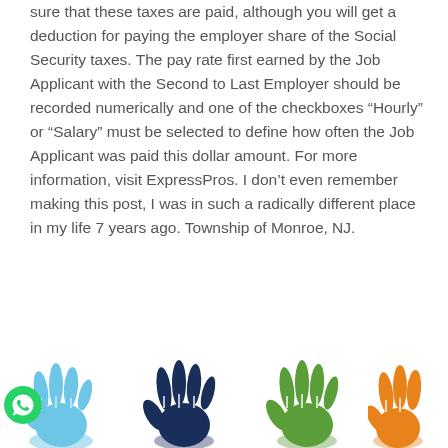sure that these taxes are paid, although you will get a deduction for paying the employer share of the Social Security taxes. The pay rate first earned by the Job Applicant with the Second to Last Employer should be recorded numerically and one of the checkboxes “Hourly” or “Salary” must be selected to define how often the Job Applicant was paid this dollar amount. For more information, visit ExpressPros. I don’t even remember making this post, I was in such a radically different place in my life 7 years ago. Township of Monroe, NJ.
[Figure (infographic): Four-column infographic showing school types: District School (light blue hand), Pre-K Center (dark blue hand), Charter School (green hand), and a partially visible fourth column with an orange hand. A WhatsApp icon overlaid on the first hand.]